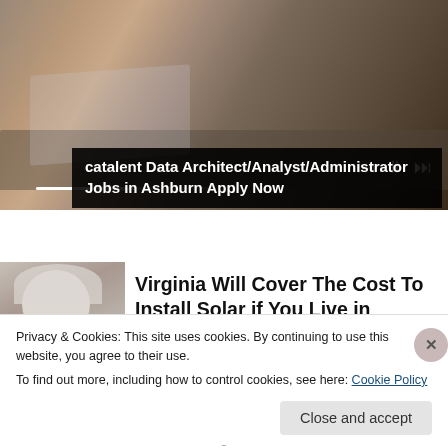[Figure (photo): Person in red plaid flannel shirt typing on a laptop at a desk in an office environment. Media playback controls visible in lower right.]
catalent Data Architect/Analyst/Administrator Jobs in Ashburn Apply Now
[Figure (photo): Older blonde woman, close-up portrait thumbnail]
Virginia Will Cover The Cost To Install Solar if You Live in
Privacy & Cookies: This site uses cookies. By continuing to use this website, you agree to their use.
To find out more, including how to control cookies, see here: Cookie Policy
Close and accept